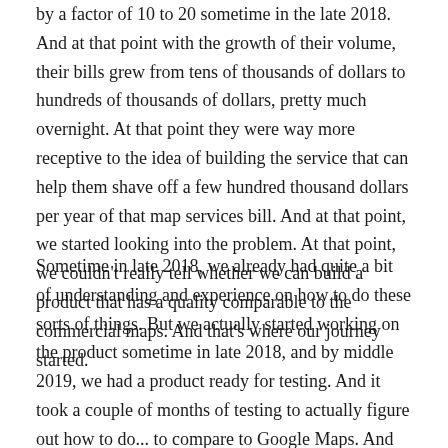by a factor of 10 to 20 sometime in the late 2018. And at that point with the growth of their volume, their bills grew from tens of thousands of dollars to hundreds of thousands of dollars, pretty much overnight. At that point they were way more receptive to the idea of building the service that can help them shave off a few hundred thousand dollars per year of that map services bill. And at that point, we started looking into the problem. At that point, we couldn't really tell whether we can build a product that has a quality comparable to the commercial maps. And that's where our journey started.
Sometime in late 2018, we already had quite a bit of understanding and experience on how to do these sorts of things. But we actually started working on the product sometime in late 2018, and by middle 2019, we had a product ready for testing. And it took a couple of months of testing to actually figure out how to do... to compare to Google Maps. And the findings...